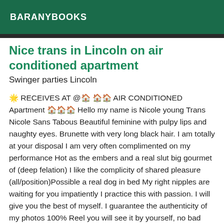BARANYBOOKS
Nice trans in Lincoln on air conditioned apartment
Swinger parties Lincoln
🌟 RECEIVES AT @🏠 🏠🏠 AIR CONDITIONED Apartment 🏠🏠🏠 Hello my name is Nicole young Trans Nicole Sans Tabous Beautiful feminine with pulpy lips and naughty eyes. Brunette with very long black hair. I am totally at your disposal I am very often complimented on my performance Hot as the embers and a real slut big gourmet of (deep felation) I like the complicity of shared pleasure (all/position)Possible a real dog in bed My right nipples are waiting for you impatiently I practice this with passion. I will give you the best of myself. I guarantee the authenticity of my photos 100% Reel you will see it by yourself, no bad SURPRISE on the spot. I will be waiting for you in sexy lingerie and high heels. Do not